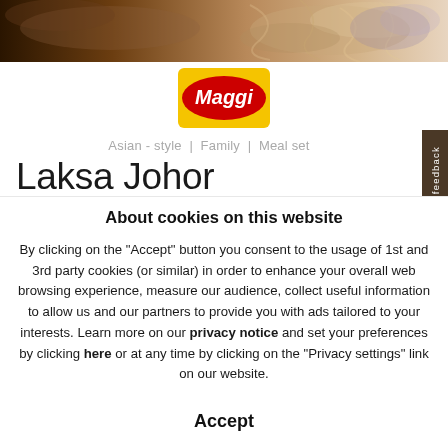[Figure (photo): Food photo strip showing noodles/laksa dish at top of page]
[Figure (logo): Maggi logo - yellow rectangle with red oval containing white Maggi text]
Asian - style  |  Family  |  Meal set
Laksa Johor
About cookies on this website
By clicking on the "Accept" button you consent to the usage of 1st and 3rd party cookies (or similar) in order to enhance your overall web browsing experience, measure our audience, collect useful information to allow us and our partners to provide you with ads tailored to your interests. Learn more on our privacy notice and set your preferences by clicking here or at any time by clicking on the "Privacy settings" link on our website.
Accept